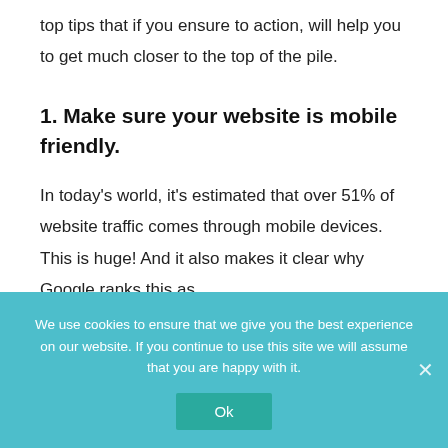top tips that if you ensure to action, will help you to get much closer to the top of the pile.
1. Make sure your website is mobile friendly.
In today's world, it's estimated that over 51% of website traffic comes through mobile devices. This is huge! And it also makes it clear why Google ranks this as
We use cookies to ensure that we give you the best experience on our website. If you continue to use this site we will assume that you are happy with it.